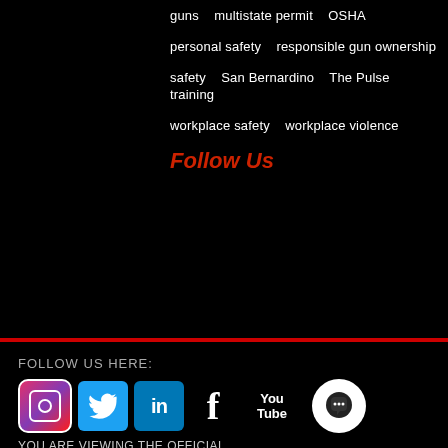guns   multistate permit   OSHA
personal safety   responsible gun ownership
safety   San Bernardino   The Pulse   training
workplace safety   workplace violence
Follow Us
[Figure (logo): Social media icons: Facebook (blue), Twitter (light blue), Google+ (red-orange)]
FOLLOW US HERE:
[Figure (logo): Social media icons row: Instagram, Twitter, LinkedIn, Facebook, YouTube, chat bubble]
YOU ARE VIEWING THE OFFICIAL
T4TACTICS LLC WEBSITE: T4TACTICS.COM